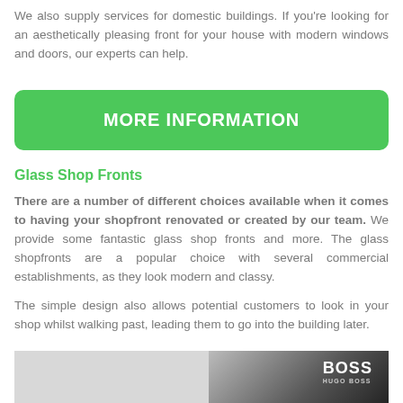We also supply services for domestic buildings. If you're looking for an aesthetically pleasing front for your house with modern windows and doors, our experts can help.
MORE INFORMATION
Glass Shop Fronts
There are a number of different choices available when it comes to having your shopfront renovated or created by our team. We provide some fantastic glass shop fronts and more. The glass shopfronts are a popular choice with several commercial establishments, as they look modern and classy.
The simple design also allows potential customers to look in your shop whilst walking past, leading them to go into the building later.
[Figure (photo): Photo of a glass shop front with a BOSS Hugo Boss sign visible]